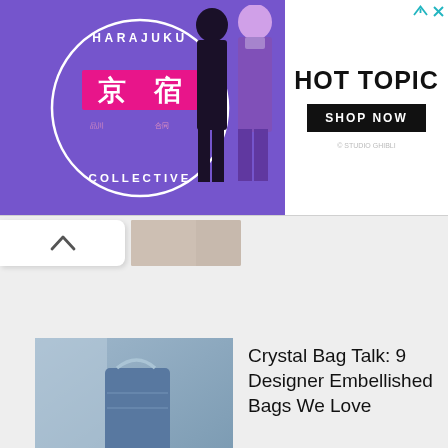[Figure (photo): Hot Topic advertisement banner featuring Harajuku Collective logo on purple background with two anime-style dressed girls, and Hot Topic logo with Shop Now button on white background]
[Figure (photo): Upward arrow navigation button with partial image of bag visible]
[Figure (photo): Woman carrying silver/metallic designer handbag with crystal embellishments]
Crystal Bag Talk: 9 Designer Embellished Bags We Love
[Figure (photo): Person holding YSL LouLou black quilted bag against brick wall]
YSL LouLou Bag: Worth it or Skip?
9 Best Designer Travel Bags To Invest in This Year